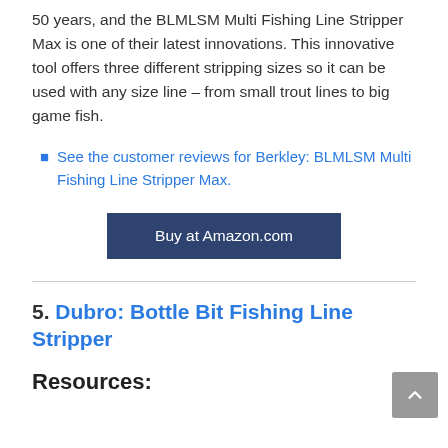50 years, and the BLMLSM Multi Fishing Line Stripper Max is one of their latest innovations. This innovative tool offers three different stripping sizes so it can be used with any size line – from small trout lines to big game fish.
See the customer reviews for Berkley: BLMLSM Multi Fishing Line Stripper Max.
Buy at Amazon.com
5. Dubro: Bottle Bit Fishing Line Stripper
Resources: